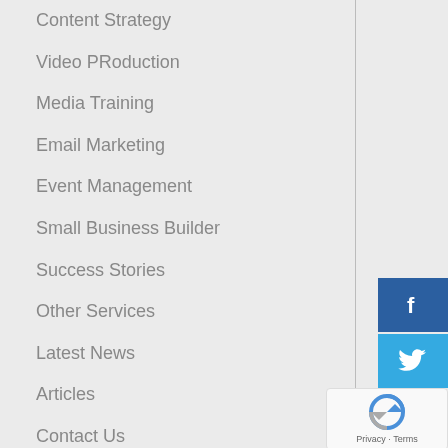Content Strategy
Video PRoduction
Media Training
Email Marketing
Event Management
Small Business Builder
Success Stories
Other Services
Latest News
Articles
Contact Us
[Figure (logo): Facebook icon button (blue square with white f)]
[Figure (logo): Twitter icon button (light blue square with white bird)]
[Figure (logo): reCAPTCHA widget with Privacy and Terms text]